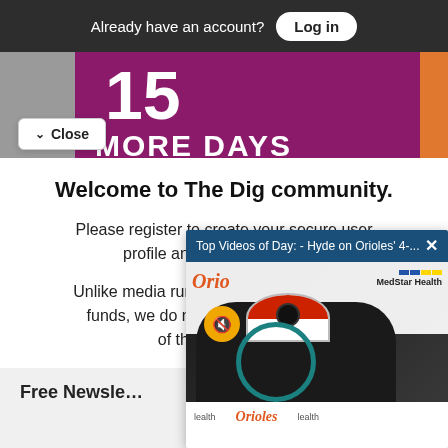Already have an account? Log in
[Figure (photo): Banner showing '15 MORE DAYS' on a magenta/purple background with orange stripe, with a grey panel on the left]
Close
Welcome to The Dig community.
Please register to create your secure user profile and continue reading.
Unlike media run by billionaires and hedge funds, we do not... believe in access... of the last free m...
[Figure (screenshot): Video overlay popup: 'Top Videos of Day: - Hyde on Orioles' 4-...' with an Orioles press conference video thumbnail showing a man in an Orioles cap with MedStar Health backdrop]
Free Newsle...